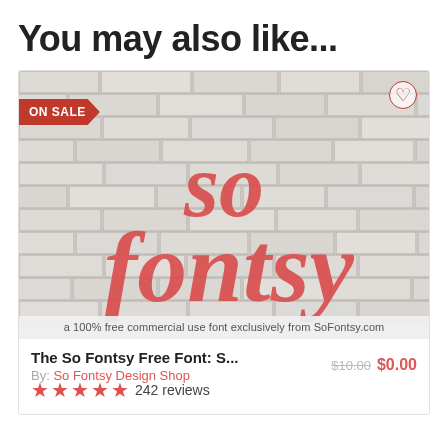You may also like...
[Figure (screenshot): Product card showing 'so fontsy' script lettering on a brick wall background with ON SALE badge, heart icon, and caption 'a 100% free commercial use font exclusively from SoFontsy.com']
The So Fontsy Free Font: S...
By: So Fontsy Design Shop
$10.00  $0.00
★★★★★ 242 reviews